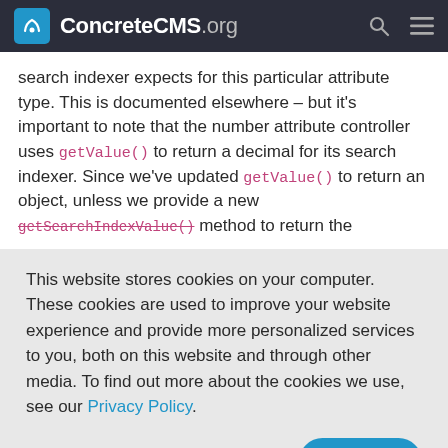ConcreteCMS.org
search indexer expects for this particular attribute type. This is documented elsewhere – but it's important to note that the number attribute controller uses getValue() to return a decimal for its search indexer. Since we've updated getValue() to return an object, unless we provide a new getSearchIndexValue() method to return the
This website stores cookies on your computer. These cookies are used to improve your website experience and provide more personalized services to you, both on this website and through other media. To find out more about the cookies we use, see our Privacy Policy.
Accept